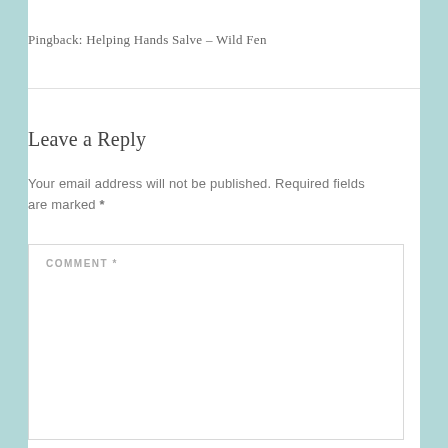Pingback: Helping Hands Salve – Wild Fen
Leave a Reply
Your email address will not be published. Required fields are marked *
COMMENT *